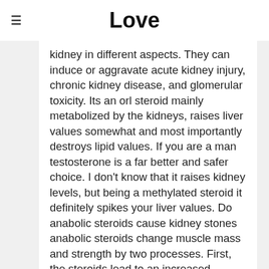Love
kidney in different aspects. They can induce or aggravate acute kidney injury, chronic kidney disease, and glomerular toxicity. Its an orl steroid mainly metabolized by the kidneys, raises liver values somewhat and most importantly destroys lipid values. If you are a man testosterone is a far better and safer choice. I don't know that it raises kidney levels, but being a methylated steroid it definitely spikes your liver values. Do anabolic steroids cause kidney stones anabolic steroids change muscle mass and strength by two processes. First, the steroids lead to an increased production of proteins, which are the building blocks of muscle. The steroids also block the effect of the hormone cortisol on muscle tissue, so that existing muscle is broken down at a slower rate. There are other health problems already associated with anabolic steroid use–these include gynecomastia, dyslipidemia